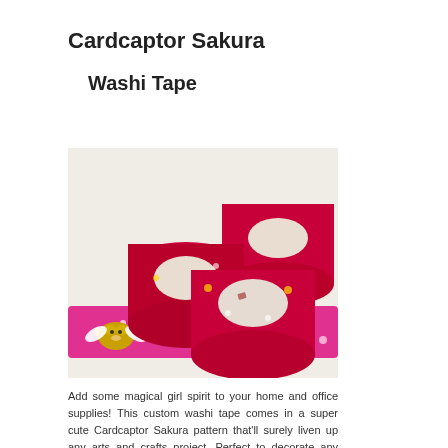Cardcaptor Sakura
Washi Tape
[Figure (photo): Three rolls of red/dark pink washi tape with white and gold patterns, and a strip of pink washi tape featuring a cartoon bear (Kero-chan) with angel wings from Cardcaptor Sakura, arranged on a light surface.]
Add some magical girl spirit to your home and office supplies! This custom washi tape comes in a super cute Cardcaptor Sakura pattern that'll surely liven up any arts and crafts project. Perfect to decorate any surface and is easily removable...